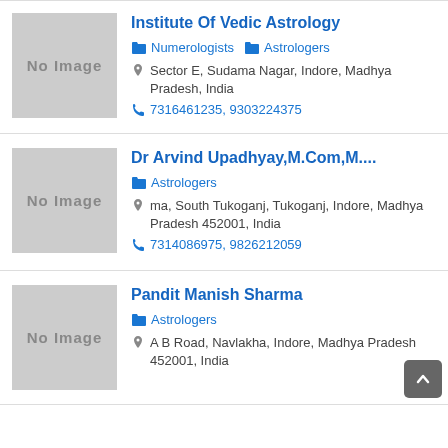Institute Of Vedic Astrology
Numerologists  Astrologers
Sector E, Sudama Nagar, Indore, Madhya Pradesh, India
7316461235, 9303224375
Dr Arvind Upadhyay,M.Com,M....
Astrologers
ma, South Tukoganj, Tukoganj, Indore, Madhya Pradesh 452001, India
7314086975, 9826212059
Pandit Manish Sharma
Astrologers
A B Road, Navlakha, Indore, Madhya Pradesh 452001, India